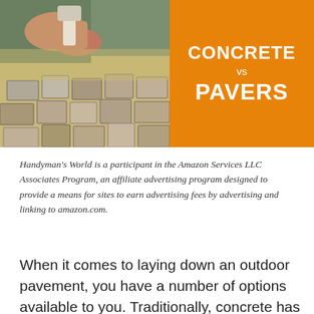[Figure (photo): Left half shows a photo of hands laying interlocking concrete pavers/cobblestones. Right half is an orange rectangle with white bold text reading CONCRETE vs PAVERS.]
CONCRETE vs PAVERS
Handyman's World is a participant in the Amazon Services LLC Associates Program, an affiliate advertising program designed to provide a means for sites to earn advertising fees by advertising and linking to amazon.com.
When it comes to laying down an outdoor pavement, you have a number of options available to you. Traditionally, concrete has